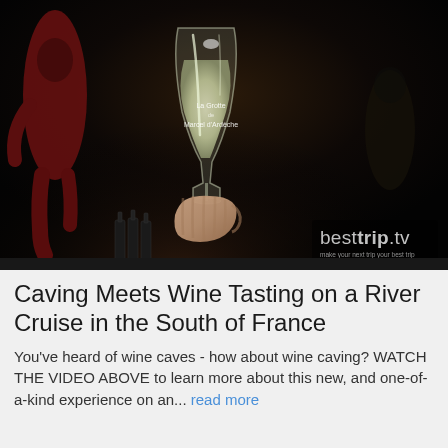[Figure (photo): Dark cave/night scene showing a hand holding up a wine glass with 'La Grotte de Marcel d'Ardèche' branding on it, with dark bottles in the background and people dimly visible. BestTrip.tv watermark in bottom right.]
Caving Meets Wine Tasting on a River Cruise in the South of France
You've heard of wine caves - how about wine caving? WATCH THE VIDEO ABOVE to learn more about this new, and one-of-a-kind experience on an... read more